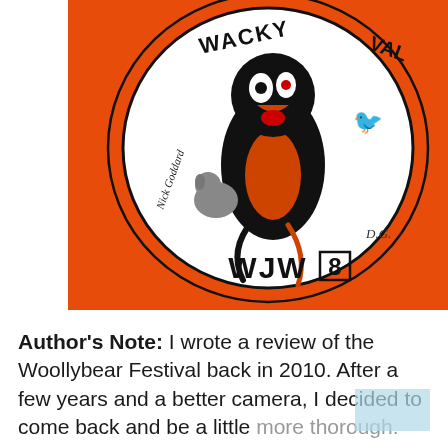[Figure (photo): Close-up photo of an orange jacket/shirt back featuring a circular logo with a cartoon Woollybear caterpillar character and a bird, text reading 'WACKY' at top, 'WJW 8' at bottom of the circle, 'D.G.' initials, and a signature. The fabric is bright orange.]
Author's Note: I wrote a review of the Woollybear Festival back in 2010.  After a few years and a better camera, I decided to come back and be a little more thorough.